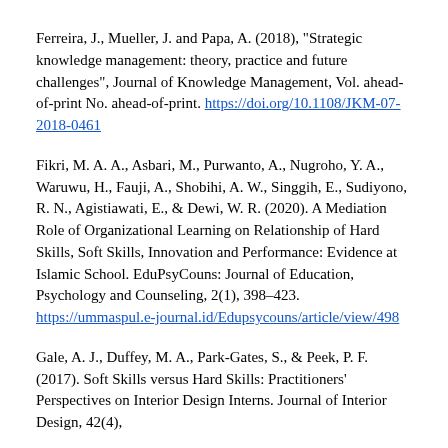Ferreira, J., Mueller, J. and Papa, A. (2018), "Strategic knowledge management: theory, practice and future challenges", Journal of Knowledge Management, Vol. ahead-of-print No. ahead-of-print. https://doi.org/10.1108/JKM-07-2018-0461
Fikri, M. A. A., Asbari, M., Purwanto, A., Nugroho, Y. A., Waruwu, H., Fauji, A., Shobihi, A. W., Singgih, E., Sudiyono, R. N., Agistiawati, E., & Dewi, W. R. (2020). A Mediation Role of Organizational Learning on Relationship of Hard Skills, Soft Skills, Innovation and Performance: Evidence at Islamic School. EduPsyCouns: Journal of Education, Psychology and Counseling, 2(1), 398–423. https://ummaspul.e-journal.id/Edupsycouns/article/view/498
Gale, A. J., Duffey, M. A., Park-Gates, S., & Peek, P. F. (2017). Soft Skills versus Hard Skills: Practitioners' Perspectives on Interior Design Interns. Journal of Interior Design, 42(4),